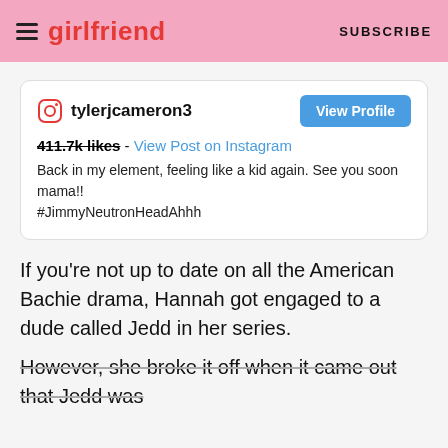girlfriend  SUBSCRIBE
[Figure (screenshot): Instagram profile card for tylerjcameron3 with a View Profile button, a small post image thumbnail, likes count of 411.7k with a 'View Post on Instagram' link, and caption text: Back in my element, feeling like a kid again. See you soon mama!! #JimmyNeutronHeadAhhh]
If you're not up to date on all the American Bachie drama, Hannah got engaged to a dude called Jedd in her series.
However, she broke it off when it came out that Jedd was